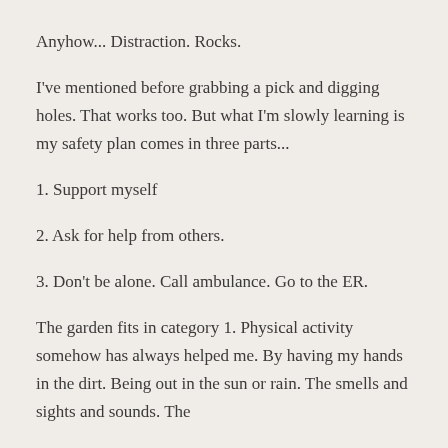Anyhow... Distraction. Rocks.
I've mentioned before grabbing a pick and digging holes. That works too. But what I'm slowly learning is my safety plan comes in three parts...
1. Support myself
2. Ask for help from others.
3. Don't be alone. Call ambulance. Go to the ER.
The garden fits in category 1. Physical activity somehow has always helped me. By having my hands in the dirt. Being out in the sun or rain. The smells and sights and sounds. The